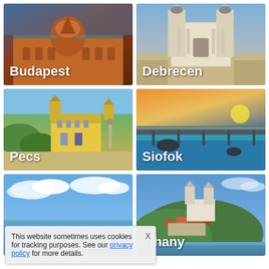[Figure (photo): Aerial view of Budapest Buda Castle with its iconic dome, reddish-brown facade]
[Figure (photo): Aerial view of Debrecen Great Reformed Church with white baroque facade and twin towers]
[Figure (photo): Aerial view of Pecs city center with colorful baroque buildings and a column]
[Figure (photo): Sunset view of Siofok harbor with a bridge over Lake Balaton under dramatic orange sky]
[Figure (photo): Lake Balaton landscape with bright blue sky and white clouds reflected in the water]
[Figure (photo): Aerial view of Tihany village on a hill with church overlooking Lake Balaton]
This website sometimes uses cookies for tracking purposes. See our privacy policy for more details.